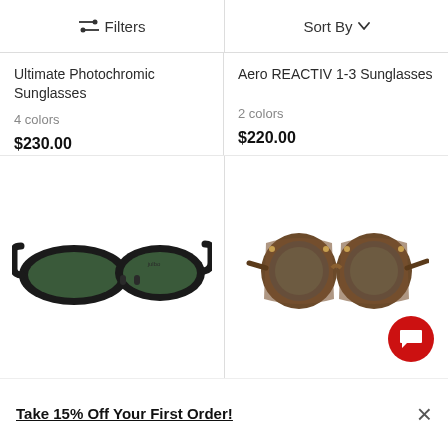Filters   Sort By
Ultimate Photochromic Sunglasses
4 colors
$230.00
Aero REACTIV 1-3 Sunglasses
2 colors
$220.00
[Figure (photo): Black wrap-style sunglasses with dark green lenses, viewed from the side]
[Figure (photo): Vintage-style round sunglasses with leather side shields and brown tortoise frame]
Take 15% Off Your First Order!